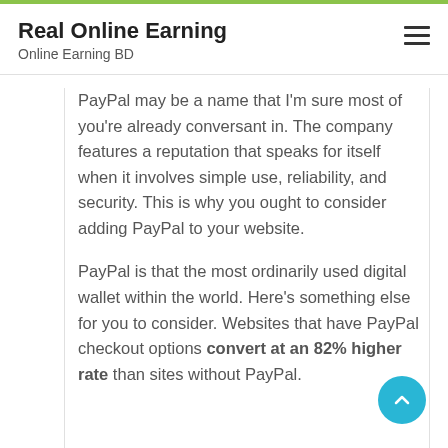Real Online Earning
Online Earning BD
PayPal may be a name that I'm sure most of you're already conversant in. The company features a reputation that speaks for itself when it involves simple use, reliability, and security. This is why you ought to consider adding PayPal to your website.
PayPal is that the most ordinarily used digital wallet within the world. Here's something else for you to consider. Websites that have PayPal checkout options convert at an 82% higher rate than sites without PayPal.